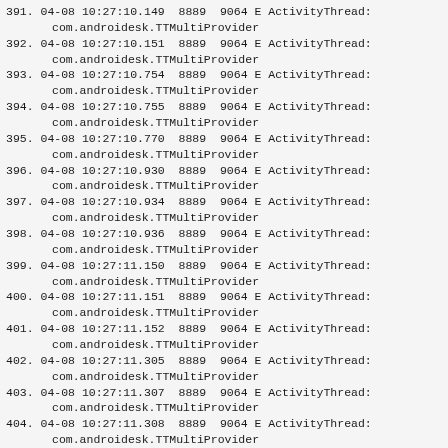391. 04-08 10:27:10.149  8889  9064 E ActivityThread:
     com.androidesk.TTMultiProvider
392. 04-08 10:27:10.151  8889  9064 E ActivityThread:
     com.androidesk.TTMultiProvider
393. 04-08 10:27:10.754  8889  9064 E ActivityThread:
     com.androidesk.TTMultiProvider
394. 04-08 10:27:10.755  8889  9064 E ActivityThread:
     com.androidesk.TTMultiProvider
395. 04-08 10:27:10.770  8889  9064 E ActivityThread:
     com.androidesk.TTMultiProvider
396. 04-08 10:27:10.930  8889  9064 E ActivityThread:
     com.androidesk.TTMultiProvider
397. 04-08 10:27:10.934  8889  9064 E ActivityThread:
     com.androidesk.TTMultiProvider
398. 04-08 10:27:10.936  8889  9064 E ActivityThread:
     com.androidesk.TTMultiProvider
399. 04-08 10:27:11.150  8889  9064 E ActivityThread:
     com.androidesk.TTMultiProvider
400. 04-08 10:27:11.151  8889  9064 E ActivityThread:
     com.androidesk.TTMultiProvider
401. 04-08 10:27:11.152  8889  9064 E ActivityThread:
     com.androidesk.TTMultiProvider
402. 04-08 10:27:11.305  8889  9064 E ActivityThread:
     com.androidesk.TTMultiProvider
403. 04-08 10:27:11.307  8889  9064 E ActivityThread:
     com.androidesk.TTMultiProvider
404. 04-08 10:27:11.308  8889  9064 E ActivityThread:
     com.androidesk.TTMultiProvider
405. 04-08 10:27:11.478  8889  9064 E ActivityThread: